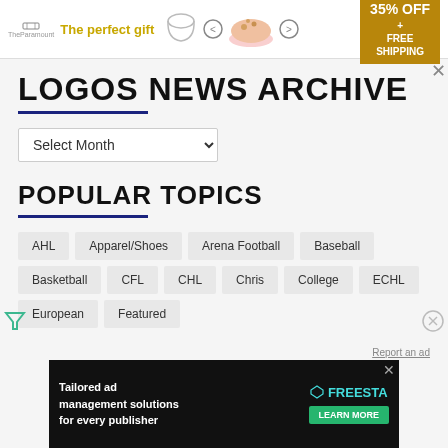[Figure (screenshot): Advertisement banner: 'The perfect gift' with bowl image, 35% OFF + FREE SHIPPING promo box]
LOGOS NEWS ARCHIVE
Select Month (dropdown)
POPULAR TOPICS
AHL
Apparel/Shoes
Arena Football
Baseball
Basketball
CFL
CHL
Chris
College
ECHL
European
Featured
[Figure (screenshot): Freestar advertisement: 'Tailored ad management solutions for every publisher' with LEARN MORE button]